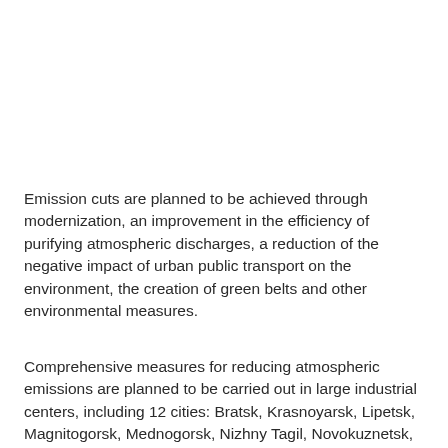Emission cuts are planned to be achieved through modernization, an improvement in the efficiency of purifying atmospheric discharges, a reduction of the negative impact of urban public transport on the environment, the creation of green belts and other environmental measures.
Comprehensive measures for reducing atmospheric emissions are planned to be carried out in large industrial centers, including 12 cities: Bratsk, Krasnoyarsk, Lipetsk, Magnitogorsk, Mednogorsk, Nizhny Tagil, Novokuznetsk,